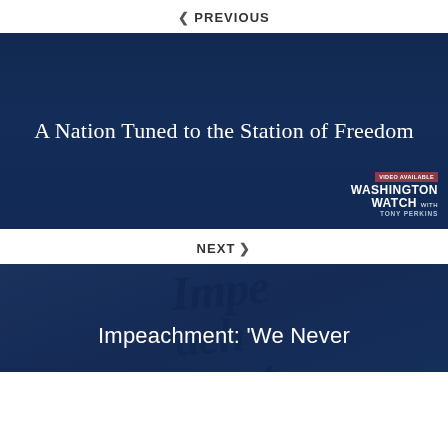< PREVIOUS
[Figure (photo): A person wearing a face covering with 'CENSORED' written on it, overlaid with dark blue tint. Text overlay reads 'A Nation Tuned to the Station of Freedom'. Bottom right shows Washington Watch with Tony Perkins logo with 'VIDEO AVAILABLE' badge.]
NEXT >
[Figure (photo): Dark blue tinted image with large italic 'Impeachment' text in background. White text overlay reads 'Impeachment: We Never']